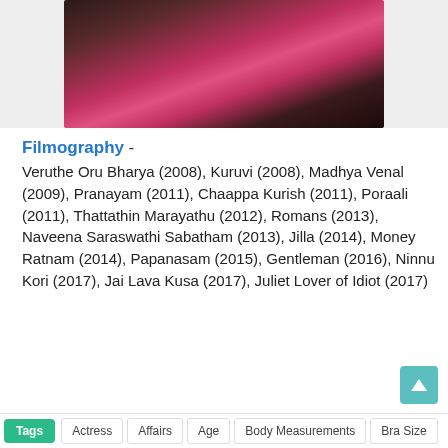[Figure (photo): Photo of an actress in traditional Indian attire with a pink/red saree and ornate necklace, dark hair]
Filmography -
Veruthe Oru Bharya (2008), Kuruvi (2008), Madhya Venal (2009), Pranayam (2011), Chaappa Kurish (2011), Poraali (2011), Thattathin Marayathu (2012), Romans (2013), Naveena Saraswathi Sabatham (2013), Jilla (2014), Money Ratnam (2014), Papanasam (2015), Gentleman (2016), Ninnu Kori (2017), Jai Lava Kusa (2017), Juliet Lover of Idiot (2017)
Tags  Actress  Affairs  Age  Body Measurements  Bra Size